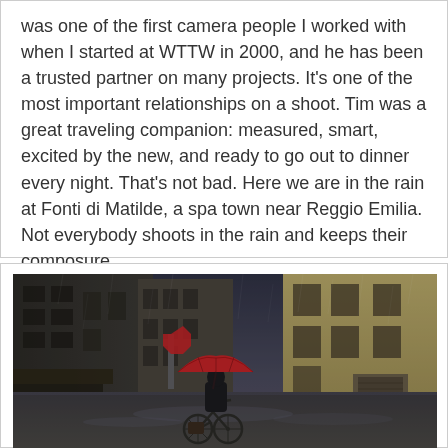was one of the first camera people I worked with when I started at WTTW in 2000, and he has been a trusted partner on many projects. It's one of the most important relationships on a shoot. Tim was a great traveling companion: measured, smart, excited by the new, and ready to go out to dinner every night. That's not bad. Here we are in the rain at Fonti di Matilde, a spa town near Reggio Emilia. Not everybody shoots in the rain and keeps their composure.
[Figure (photo): A person riding a bicycle in the rain on a wet urban street, holding a bright red umbrella. The scene is set in an Italian town with old buildings. The image has a moody, desaturated color palette with the red umbrella as the focal point of color.]